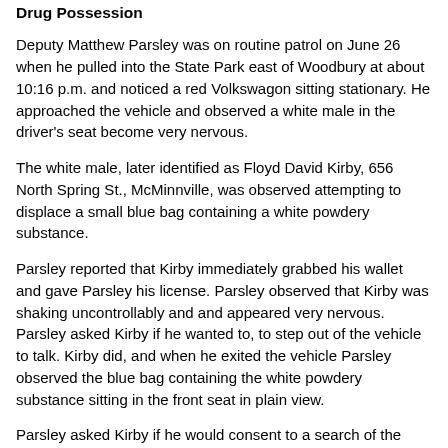Drug Possession
Deputy Matthew Parsley was on routine patrol on June 26 when he pulled into the State Park east of Woodbury at about 10:16 p.m. and noticed a red Volkswagon sitting stationary. He approached the vehicle and observed a white male in the driver's seat become very nervous.
The white male, later identified as Floyd David Kirby, 656 North Spring St., McMinnville, was observed attempting to displace a small blue bag containing a white powdery substance.
Parsley reported that Kirby immediately grabbed his wallet and gave Parsley his license. Parsley observed that Kirby was shaking uncontrollably and and appeared very nervous. Parsley asked Kirby if he wanted to, to step out of the vehicle to talk. Kirby did, and when he exited the vehicle Parsley observed the blue bag containing the white powdery substance sitting in the front seat in plain view.
Parsley asked Kirby if he would consent to a search of the vehicle, and Kirby agreed to do so. Parsley took the small bag of white powdery substance from the vehicle and asked Kirby to have a